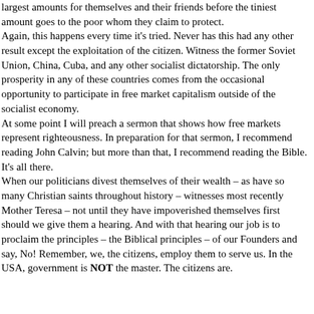largest amounts for themselves and their friends before the tiniest amount goes to the poor whom they claim to protect. Again, this happens every time it's tried. Never has this had any other result except the exploitation of the citizen. Witness the former Soviet Union, China, Cuba, and any other socialist dictatorship. The only prosperity in any of these countries comes from the occasional opportunity to participate in free market capitalism outside of the socialist economy. At some point I will preach a sermon that shows how free markets represent righteousness. In preparation for that sermon, I recommend reading John Calvin; but more than that, I recommend reading the Bible. It's all there. When our politicians divest themselves of their wealth – as have so many Christian saints throughout history – witnesses most recently Mother Teresa – not until they have impoverished themselves first should we give them a hearing. And with that hearing our job is to proclaim the principles – the Biblical principles – of our Founders and say, No! Remember, we, the citizens, employ them to serve us. In the USA, government is NOT the master. The citizens are.